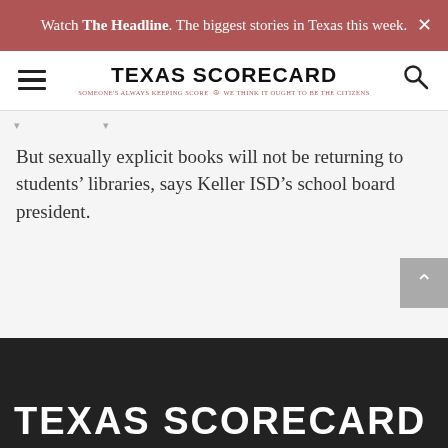Watch The Headline. The biggest stories in Texas this week.
[Figure (logo): Texas Scorecard logo with hamburger menu and search icon]
But sexually explicit books will not be returning to students' libraries, says Keller ISD's school board president.
TEXAS SCORECARD